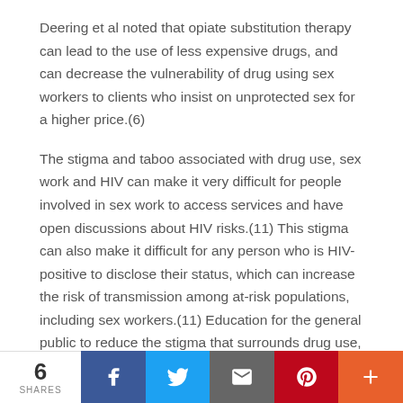Deering et al noted that opiate substitution therapy can lead to the use of less expensive drugs, and can decrease the vulnerability of drug using sex workers to clients who insist on unprotected sex for a higher price.(6)
The stigma and taboo associated with drug use, sex work and HIV can make it very difficult for people involved in sex work to access services and have open discussions about HIV risks.(11) This stigma can also make it difficult for any person who is HIV-positive to disclose their status, which can increase the risk of transmission among at-risk populations, including sex workers.(11) Education for the general public to reduce the stigma that surrounds drug use, HIV, and sex work.(11)
6 SHARES | Facebook | Twitter | Email | Pinterest | More